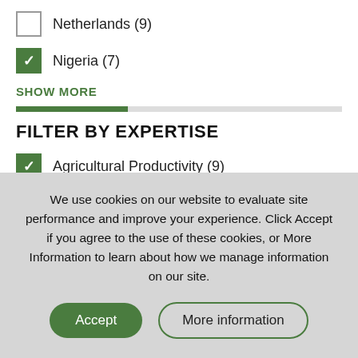Netherlands (9)
Nigeria (7)
SHOW MORE
FILTER BY EXPERTISE
Agricultural Productivity (9)
Policy and Governance (9)
We use cookies on our website to evaluate site performance and improve your experience. Click Accept if you agree to the use of these cookies, or More Information to learn about how we manage information on our site.